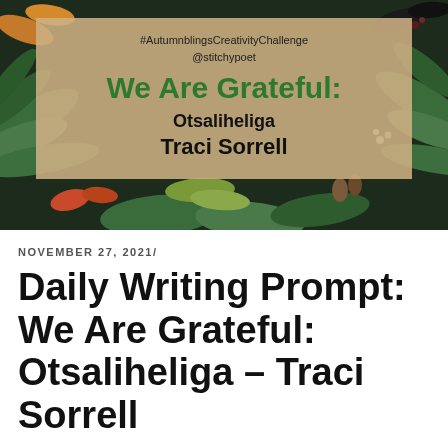[Figure (photo): Autumn foliage background with dark green herbs, dried leaves, and pine cones arranged on a dark surface. Overlaid with a tan/beige semi-transparent box containing text about an Instagram challenge.]
#AutumnblingsCreativityChallenge
@stitchypoet
We Are Grateful:
Otsaliheliga
Traci Sorrell
NOVEMBER 27, 2021/
Daily Writing Prompt: We Are Grateful: Otsaliheliga – Traci Sorrell